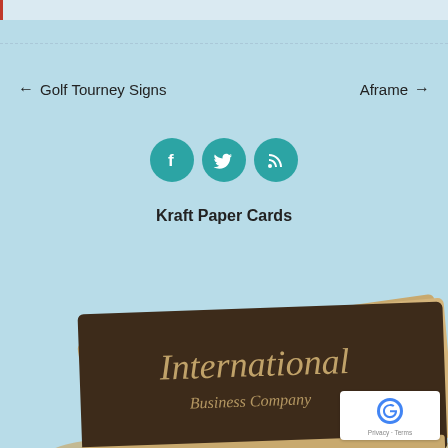← Golf Tourney Signs
Aframe →
[Figure (illustration): Three social media icons in teal circles: Facebook (f), Twitter (bird), RSS (wifi signal)]
Kraft Paper Cards
[Figure (photo): Stack of kraft paper business cards with dark brown face and 'International Business Company' in cursive script]